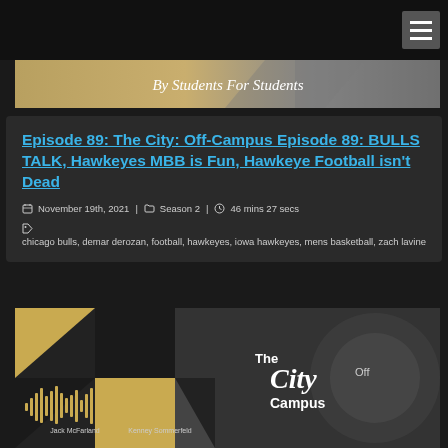[Figure (screenshot): Dark navigation bar with hamburger menu icon in top right corner]
[Figure (illustration): Banner graphic with gold/tan background and text 'By Students For Students' in italic script]
Episode 89: The City: Off-Campus Episode 89: BULLS TALK, Hawkeyes MBB is Fun, Hawkeye Football isn't Dead
November 19th, 2021 | Season 2 | 46 mins 27 secs
chicago bulls, demar derozan, football, hawkeyes, iowa hawkeyes, mens basketball, zach lavine
[Figure (photo): Podcast cover art showing two hosts faces on geometric black/gold background with sound wave visualization and 'The City Off Campus' text logo]